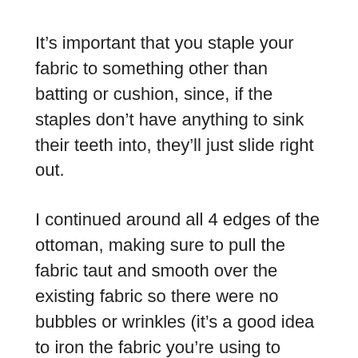It's important that you staple your fabric to something other than batting or cushion, since, if the staples don't have anything to sink their teeth into, they'll just slide right out.
I continued around all 4 edges of the ottoman, making sure to pull the fabric taut and smooth over the existing fabric so there were no bubbles or wrinkles (it's a good idea to iron the fabric you're using to recover your ottoman beforehand). This is the part that took the longest since I was taking my time, but the project still only took me a grand total of 2-3 hours (hard for me to tell for sure since I kept getting interrupted by my adorable—and constantly hungry—children and had to come back